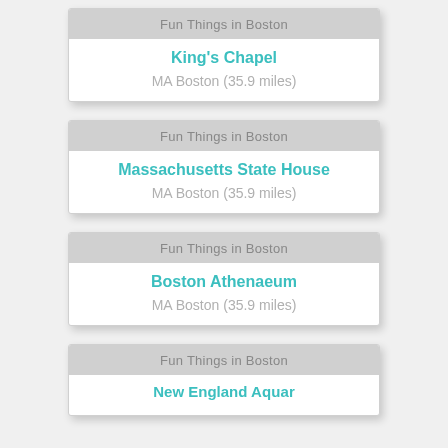Fun Things in Boston
King's Chapel
MA Boston (35.9 miles)
Fun Things in Boston
Massachusetts State House
MA Boston (35.9 miles)
Fun Things in Boston
Boston Athenaeum
MA Boston (35.9 miles)
Fun Things in Boston
New England Aquarium